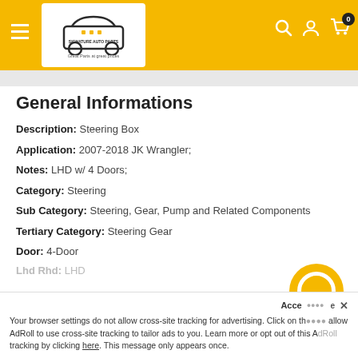Signature Auto Parts — navigation header with logo, hamburger menu, search, account, and cart icons
General Informations
Description: Steering Box
Application: 2007-2018 JK Wrangler;
Notes: LHD w/ 4 Doors;
Category: Steering
Sub Category: Steering, Gear, Pump and Related Components
Tertiary Category: Steering Gear
Door: 4-Door
Lhd Rhd: LHD
Acce... x
Your browser settings do not allow cross-site tracking for advertising. Click on th... allow AdRoll to use cross-site tracking to tailor ads to you. Learn more or opt out of this AdRoll tracking by clicking here. This message only appears once.